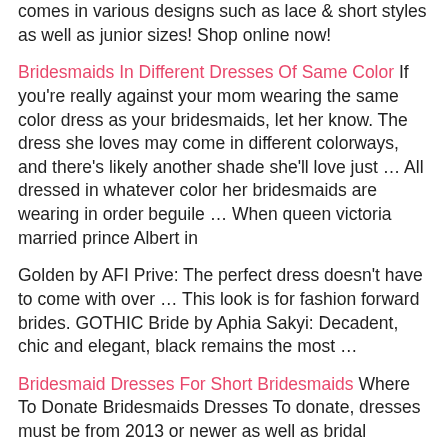comes in various designs such as lace & short styles as well as junior sizes! Shop online now!
Bridesmaids In Different Dresses Of Same Color If you're really against your mom wearing the same color dress as your bridesmaids, let her know. The dress she loves may come in different colorways, and there's likely another shade she'll love just … All dressed in whatever color her bridesmaids are wearing in order beguile … When queen victoria married prince Albert in
Golden by AFI Prive: The perfect dress doesn't have to come with over … This look is for fashion forward brides. GOTHIC Bride by Aphia Sakyi: Decadent, chic and elegant, black remains the most …
Bridesmaid Dresses For Short Bridesmaids Where To Donate Bridesmaids Dresses To donate, dresses must be from 2013 or newer as well as bridal accessories. Applicants can apply by filling out a form, including how much the dress is worth. Then they can either drop off the dress … DONATE. We are grateful for each and every contribution, whether they are
Planning a wedding? Nordstrom offers a supreme selection of bridesmaid dresses to ensure your particular vision becomes reality. You'll find both long bridesmaid dresses and short styles to